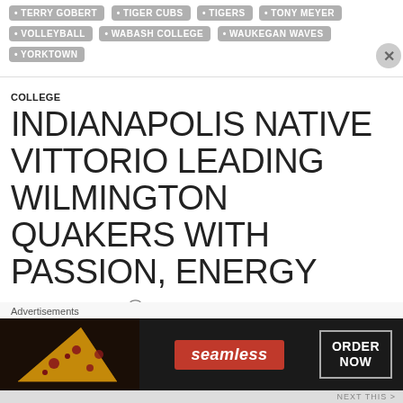TERRY GOBERT
TIGER CUBS
TIGERS
TONY MEYER
VOLLEYBALL
WABASH COLLEGE
WAUKEGAN WAVES
YORKTOWN
COLLEGE
INDIANAPOLIS NATIVE VITTORIO LEADING WILMINGTON QUAKERS WITH PASSION, ENERGY
NOVEMBER 7, 2019   3 COMMENTS
[Figure (infographic): Seamless food delivery advertisement banner with pizza image on left, seamless red logo in center, and ORDER NOW button on right]